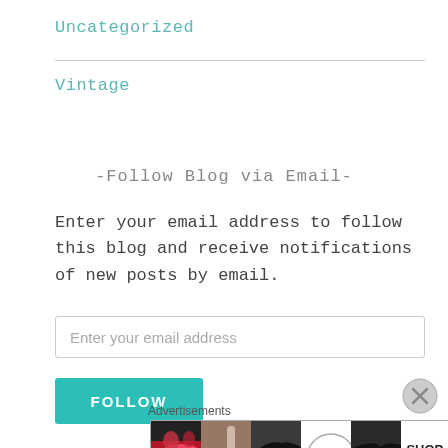Uncategorized
Vintage
-Follow Blog via Email-
Enter your email address to follow this blog and receive notifications of new posts by email.
Enter your email address
FOLLOW
Advertisements
[Figure (photo): ULTA Beauty advertisement banner with makeup/beauty images and SHOP NOW call to action]